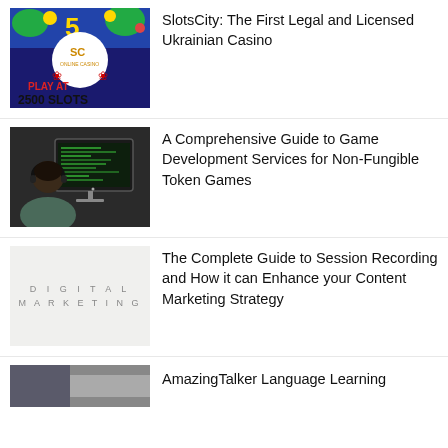[Figure (photo): Casino advertisement showing SC Online Casino logo with maple leaves and text PLAY AT 2500 SLOTS on colorful background]
SlotsCity: The First Legal and Licensed Ukrainian Casino
[Figure (photo): Person wearing headphones sitting at a computer monitor with code on screen]
A Comprehensive Guide to Game Development Services for Non-Fungible Token Games
[Figure (photo): Light background with text DIGITAL MARKETING in spaced letters]
The Complete Guide to Session Recording and How it can Enhance your Content Marketing Strategy
[Figure (photo): Partially visible image at bottom of page]
AmazingTalker Language Learning